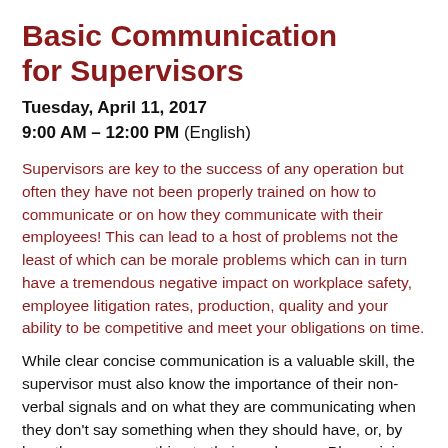Basic Communication for Supervisors
Tuesday, April 11, 2017
9:00 AM – 12:00 PM (English)
Supervisors are key to the success of any operation but often they have not been properly trained on how to communicate or on how they communicate with their employees! This can lead to a host of problems not the least of which can be morale problems which can in turn have a tremendous negative impact on workplace safety, employee litigation rates, production, quality and your ability to be competitive and meet your obligations on time.
While clear concise communication is a valuable skill, the supervisor must also know the importance of their non-verbal signals and on what they are communicating when they don't say something when they should have, or, by how they say something to their employees. Please join us as we shed light on this important and often overlooked component of